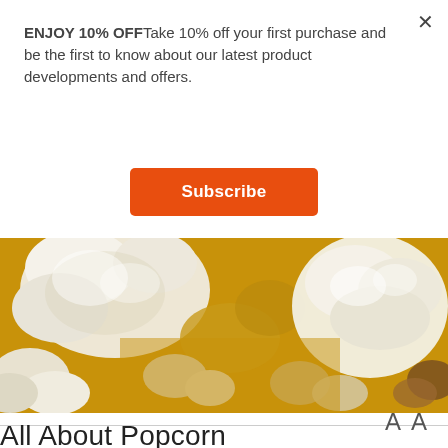× (close button)
ENJOY 10% OFFTake 10% off your first purchase and be the first to know about our latest product developments and offers.
Subscribe
[Figure (photo): Close-up photograph of white and golden popcorn kernels filling the frame]
AA
All About Popcorn